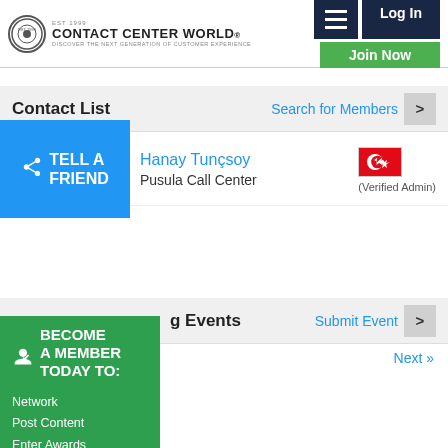Contact Center World — Log In | Join Now
Contact List
Search for Members >
Hanay Tunçsoy
Pusula Call Center
(Verified Admin)
TELL A FRIEND
Upcoming Events
Submit Event >
Next »
BECOME A MEMBER TODAY TO:
Network
Post Content
Enter Awards
+ Much More